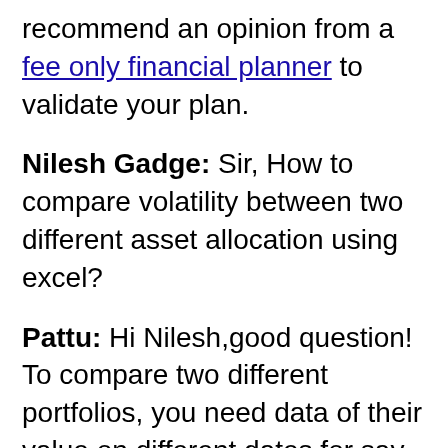recommend an opinion from a fee only financial planner to validate your plan.
Nilesh Gadge: Sir, How to compare volatility between two different asset allocation using excel?
Pattu: Hi Nilesh,good question! To compare two different portfolios, you need data of their value on different dates for say a year or so. Then you can take weekly returns